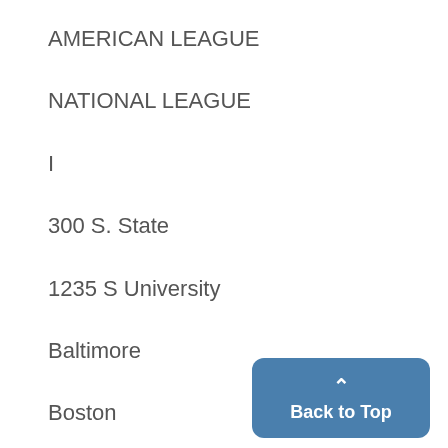AMERICAN LEAGUE
NATIONAL LEAGUE
I
300 S. State
1235 S University
Baltimore
Boston
Detroit
Washington